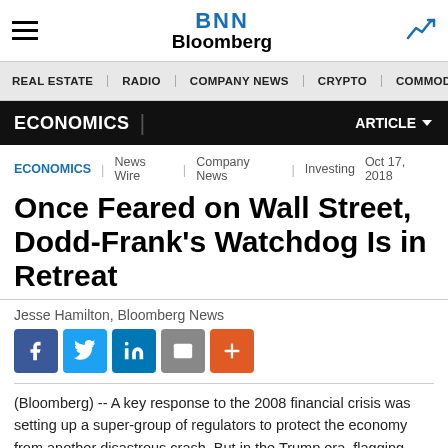BNN Bloomberg
REAL ESTATE | RADIO | COMPANY NEWS | CRYPTO | COMMODITIES | CANN
ECONOMICS | ARTICLE
ECONOMICS | News Wire | Company News | Investing    Oct 17, 2018
Once Feared on Wall Street, Dodd-Frank's Watchdog Is in Retreat
Jesse Hamilton, Bloomberg News
[Figure (infographic): Social sharing buttons: Facebook, Twitter, LinkedIn, Email, Plus]
(Bloomberg) -- A key response to the 2008 financial crisis was setting up a super-group of regulators to protect the economy from another disastrous crash. But in the Trump era, flagging new dangers has taken a backseat to cutting